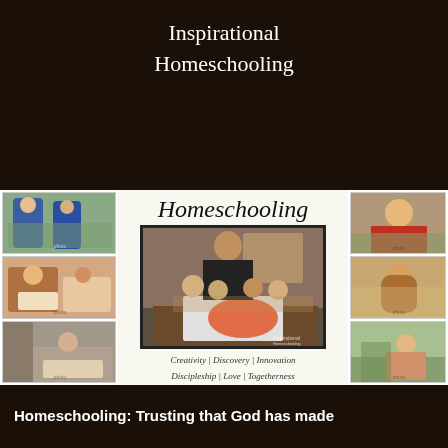Inspirational Homeschooling
[Figure (photo): Book cover collage with multiple family homeschooling photos, central image of mother and children studying around a table with a butterfly book, flanked by smaller photos of children learning and playing outdoors.]
Homeschooling
Creativity | Discovery | Innovation
Discipleship | Love | Togetherness
Homeschooling: Trusting that God has made